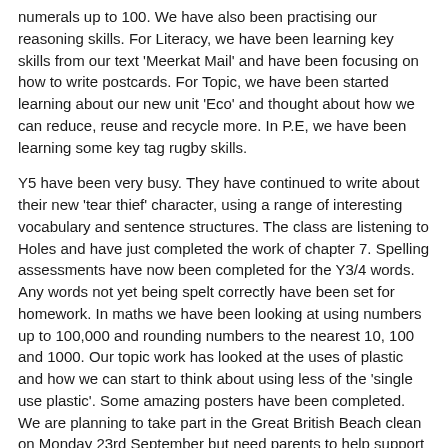numerals up to 100. We have also been practising our reasoning skills. For Literacy, we have been learning key skills from our text 'Meerkat Mail' and have been focusing on how to write postcards. For Topic, we have been started learning about our new unit 'Eco' and thought about how we can reduce, reuse and recycle more. In P.E, we have been learning some key tag rugby skills.
Y5 have been very busy. They have continued to write about their new 'tear thief' character, using a range of interesting vocabulary and sentence structures. The class are listening to Holes and have just completed the work of chapter 7. Spelling assessments have now been completed for the Y3/4 words. Any words not yet being spelt correctly have been set for homework. In maths we have been looking at using numbers up to 100,000 and rounding numbers to the nearest 10, 100 and 1000. Our topic work has looked at the uses of plastic and how we can start to think about using less of the 'single use plastic'. Some amazing posters have been completed. We are planning to take part in the Great British Beach clean on Monday 23rd September but need parents to help support in this event. If you are able to work with us in the morning please let Mrs McMorine know. Well done to the newly appointed vice-house captains and house sports leaders.